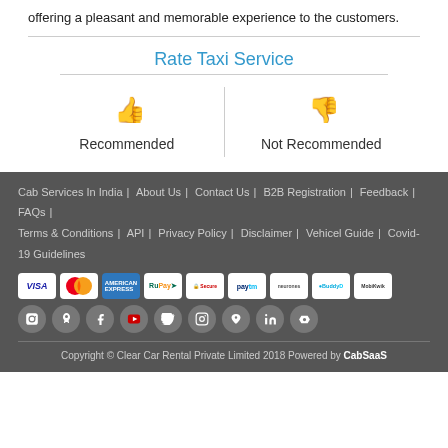offering a pleasant and memorable experience to the customers.
Rate Taxi Service
[Figure (other): Two thumbs icons: green thumbs up labeled Recommended, red thumbs down labeled Not Recommended]
Cab Services In India | About Us | Contact Us | B2B Registration | Feedback | FAQs | Terms & Conditions | API | Privacy Policy | Disclaimer | Vehicel Guide | Covid-19 Guidelines
[Figure (other): Payment method icons: VISA, MasterCard, American Express, RuPay, Secured, Paytm, Neurones, BuddyD, MobiKwik]
[Figure (other): Social media icons: Android, Apple, Facebook, YouTube, Twitter, Instagram, Pinterest, LinkedIn, RSS]
Copyright © Clear Car Rental Private Limited 2018 Powered by CabSaaS